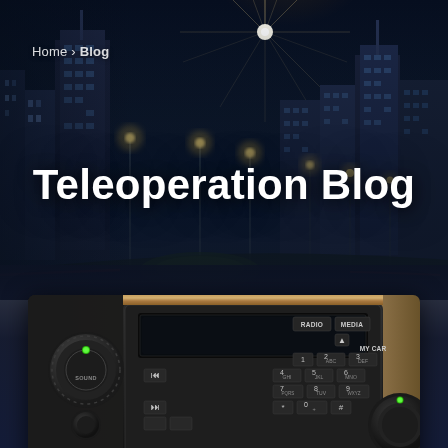[Figure (photo): Night city skyline background with tall illuminated skyscrapers and bright street lights creating starburst effects, with highway road in foreground]
Home > Blog
Teleoperation Blog
[Figure (photo): Close-up of a car interior dashboard showing radio/media control panel with buttons labeled RADIO, MEDIA, MY CAR, and various numeric keypad buttons, along with rotary control knobs]